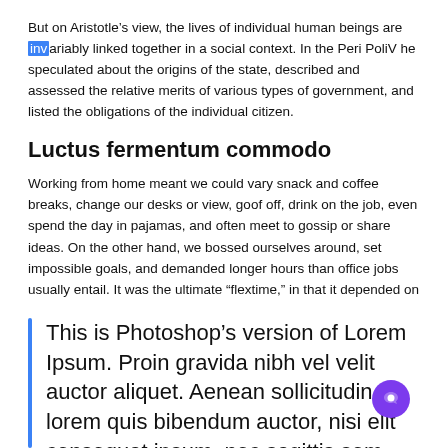But on Aristotle's view, the lives of individual human beings are invariably linked together in a social context. In the Peri PoliV he speculated about the origins of the state, described and assessed the relative merits of various types of government, and listed the obligations of the individual citizen.
Luctus fermentum commodo
Working from home meant we could vary snack and coffee breaks, change our desks or view, goof off, drink on the job, even spend the day in pajamas, and often meet to gossip or share ideas. On the other hand, we bossed ourselves around, set impossible goals, and demanded longer hours than office jobs usually entail. It was the ultimate “flextime,” in that it depended on how flexible we felt each day, given deadlines, distractions, and workaholic crescendos.
This is Photoshop’s version of Lorem Ipsum. Proin gravida nibh vel velit auctor aliquet. Aenean sollicitudin, lorem quis bibendum auctor, nisi elit consequat ipsum, nec sagittis sem nibh